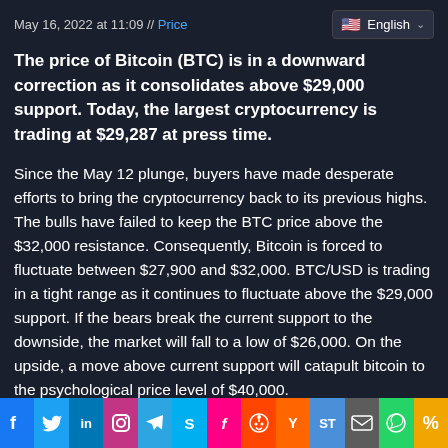May 16, 2022 at 11:09 // Price
The price of Bitcoin (BTC) is in a downward correction as it consolidates above $29,000 support. Today, the largest cryptocurrency is trading at $29,287 at press time.
Since the May 12 plunge, buyers have made desperate efforts to bring the cryptocurrency back to its previous highs. The bulls have failed to keep the BTC price above the $32,000 resistance. Consequently, Bitcoin is forced to fluctuate between $27,900 and $32,000. BTC/USD is trading in a tight range as it continues to fluctuate above the $29,000 support. If the bears break the current support to the downside, the market will fall to a low of $26,000. On the upside, a move above current support will catapult bitcoin to the psychological price level of $40,000.
[Figure (infographic): Social media sharing bar with icons for Facebook, Twitter, LinkedIn, Instagram, Telegram, Skype, Flipboard, Reddit, Hacker News, ScoopIt, Email, WhatsApp, and a share link icon]